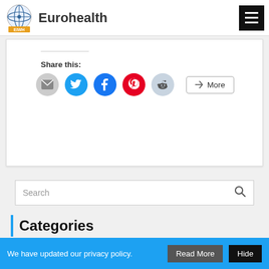Eurohealth
Share this:
[Figure (screenshot): Social share buttons: email (grey circle), Twitter (blue circle), Facebook (blue circle), Pinterest (red circle), Reddit (light blue circle), and a More button]
Search
Categories
We have updated our privacy policy. Read More Hide